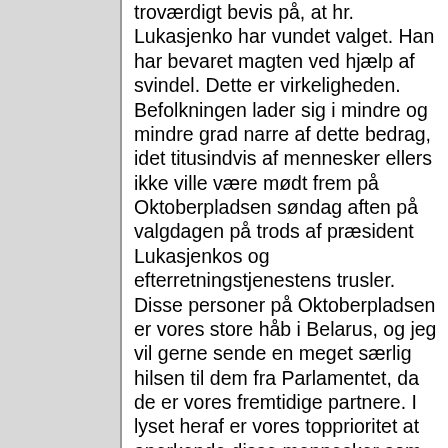troværdigt bevis på, at hr. Lukasjenko har vundet valget. Han har bevaret magten ved hjælp af svindel. Dette er virkeligheden. Befolkningen lader sig i mindre og mindre grad narre af dette bedrag, idet titusindvis af mennesker ellers ikke ville være mødt frem på Oktoberpladsen søndag aften på valgdagen på trods af præsident Lukasjenkos og efterretningstjenestens trusler. Disse personer på Oktoberpladsen er vores store håb i Belarus, og jeg vil gerne sende en meget særlig hilsen til dem fra Parlamentet, da de er vores fremtidige partnere. I lyset heraf er vores topprioritet at anerkende disse mennesker som partnere og støtte deres demokratiske aktiviteter og sikre, at der indføres visumforbud for de personer, der arresterer dem. Når alt kommer til alt, udøver disse mennesker blot deres demokratiske ret til ytringsfrihed